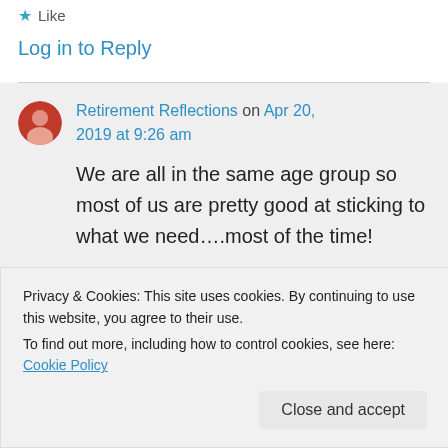★ Like
Log in to Reply
Retirement Reflections on Apr 20, 2019 at 9:26 am
We are all in the same age group so most of us are pretty good at sticking to what we need….most of the time!
Privacy & Cookies: This site uses cookies. By continuing to use this website, you agree to their use.
To find out more, including how to control cookies, see here: Cookie Policy
Close and accept